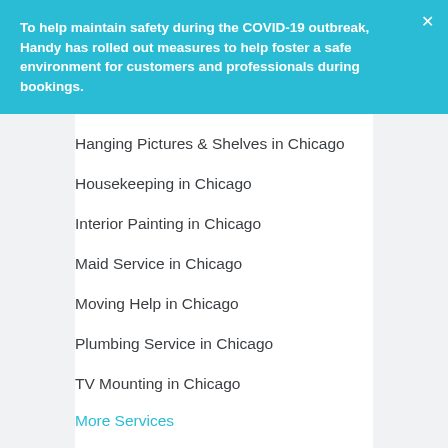To help maintain safety during the COVID-19 outbreak, Handy has rolled out measures to help foster a safe environment for customers and professionals during bookings.
Hanging Pictures & Shelves in Chicago
Housekeeping in Chicago
Interior Painting in Chicago
Maid Service in Chicago
Moving Help in Chicago
Plumbing Service in Chicago
TV Mounting in Chicago
More Services
Other Neighborhoods Near Graceland